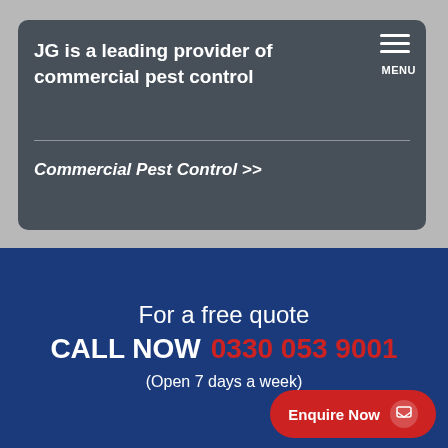JG is a leading provider of commercial pest control
Commercial Pest Control >>
For a free quote
CALL NOW  0330 053 9001
(Open 7 days a week)
Enquire Now